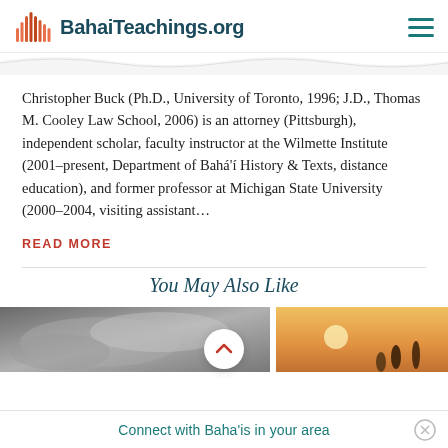BahaiTeachings.org
Christopher Buck (Ph.D., University of Toronto, 1996; J.D., Thomas M. Cooley Law School, 2006) is an attorney (Pittsburgh), independent scholar, faculty instructor at the Wilmette Institute (2001–present, Department of Bahá'í History & Texts, distance education), and former professor at Michigan State University (2000–2004, visiting assistant...
READ MORE
You May Also Like
[Figure (photo): Black and white photo (left card)]
[Figure (photo): Warm sunset photo with silhouettes (right card)]
Connect with Baha'is in your area